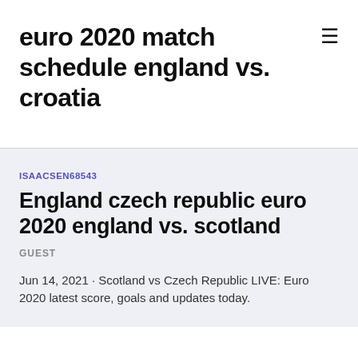euro 2020 match schedule england vs. croatia
ISAACSEN68543
England czech republic euro 2020 england vs. scotland
GUEST
Jun 14, 2021 · Scotland vs Czech Republic LIVE: Euro 2020 latest score, goals and updates today.